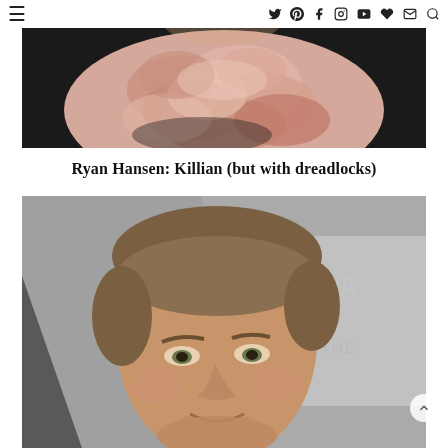≡   Twitter Pinterest Facebook Instagram YouTube ♥ Mail Search
[Figure (photo): Close-up photo of a person wearing a ruffled or textured light pink/peach fabric top against a dark background. Only the torso and lower neck area visible.]
Ryan Hansen: Killian (but with dreadlocks)
[Figure (photo): Headshot photo of Ryan Hansen, a man with short sandy/dark blonde hair, smiling slightly, in front of a backdrop with partial PaleyFest logo text visible.]